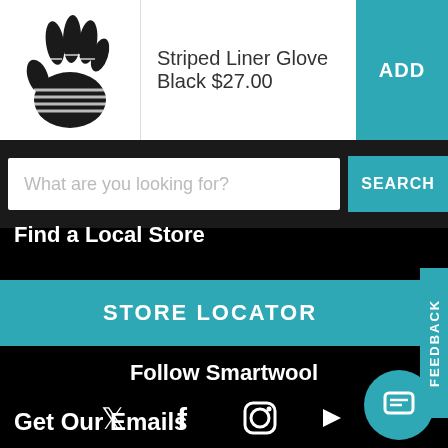[Figure (photo): Black striped liner glove product image]
Striped Liner Glove Black $27.00
ADD
What are you looking for?
SEARCH
Find a Local Store
STORE LOCATOR
FEEDBACK
Follow Smartwool
[Figure (infographic): Social media icons: Twitter, Facebook, Instagram, YouTube]
Get Our Emails
[Figure (other): Chat bubble icon button]